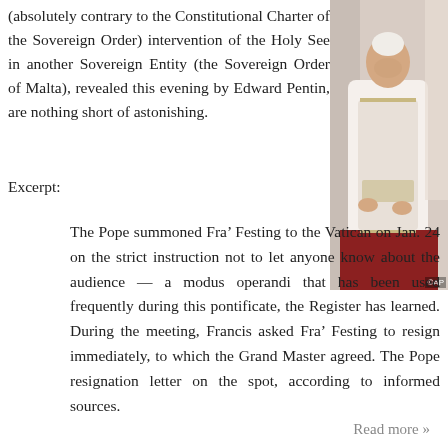(absolutely contrary to the Constitutional Charter of the Sovereign Order) intervention of the Holy See in another Sovereign Entity (the Sovereign Order of Malta), revealed this evening by Edward Pentin, are nothing short of astonishing.
[Figure (photo): Photo of a religious figure seated in ceremonial robes, wearing white vestments, with a red background. AP photo credit.]
Excerpt:
The Pope summoned Fra' Festing to the Vatican on Jan. 24 on the strict instruction not to let anyone know about the audience — a modus operandi that has been used frequently during this pontificate, the Register has learned. During the meeting, Francis asked Fra' Festing to resign immediately, to which the Grand Master agreed. The Pope resignation letter on the spot, according to informed sources.
Read more »